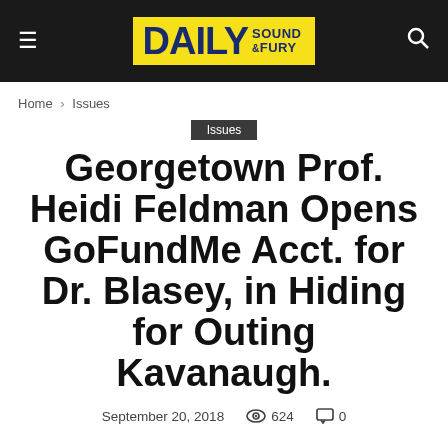Daily Sound & Fury
Home › Issues
Issues
Georgetown Prof. Heidi Feldman Opens GoFundMe Acct. for Dr. Blasey, in Hiding for Outing Kavanaugh.
September 20, 2018   624   0